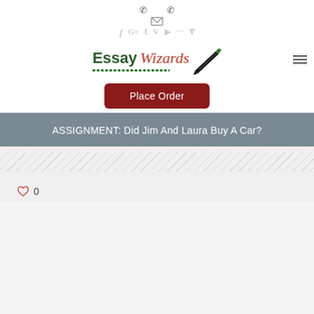Essay Wizards — website header with phone icons, email icon, social icons, logo, hamburger menu
[Figure (logo): Essay Wizards logo with green 'Essay' and red 'Wizards' text, dotted green underline, pencil/hand icon to the right]
Place Order
ASSIGNMENT: Did Jim And Laura Buy A Car?
0